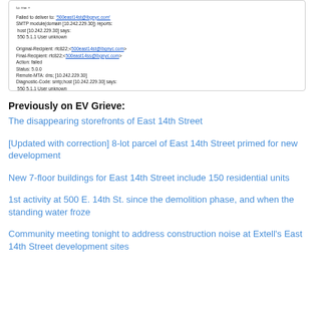[Figure (screenshot): Email bounce notification screenshot showing failed delivery to 500east14st@lbgnyc.com with SMTP error 550 5.1.1 User unknown, including Original-Recipient, Final-Recipient, Action: failed, Status: 5.0.0, Remote-MTA and Diagnostic-Code details]
Previously on EV Grieve:
The disappearing storefronts of East 14th Street
[Updated with correction] 8-lot parcel of East 14th Street primed for new development
New 7-floor buildings for East 14th Street include 150 residential units
1st activity at 500 E. 14th St. since the demolition phase, and when the standing water froze
Community meeting tonight to address construction noise at Extell's East 14th Street development sites